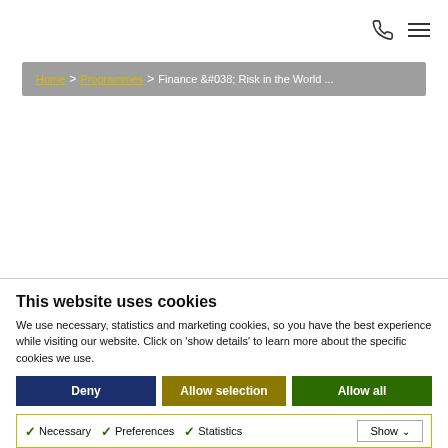[phone icon] [menu icon]
Home > Programmes > Finance &#038; Risk in the World ...
Finance & Risk in the World of Energy
This website uses cookies
We use necessary, statistics and marketing cookies, so you have the best experience while visiting our website. Click on 'show details' to learn more about the specific cookies we use.
Deny | Allow selection | Allow all
✓ Necessary  ✓ Preferences  ✓ Statistics  Show